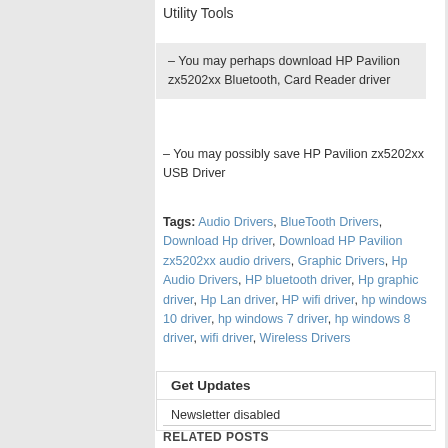Utility Tools
– You may perhaps download HP Pavilion zx5202xx Bluetooth, Card Reader driver
– You may possibly save HP Pavilion zx5202xx USB Driver
Tags: Audio Drivers, BlueTooth Drivers, Download Hp driver, Download HP Pavilion zx5202xx audio drivers, Graphic Drivers, Hp Audio Drivers, HP bluetooth driver, Hp graphic driver, Hp Lan driver, HP wifi driver, hp windows 10 driver, hp windows 7 driver, hp windows 8 driver, wifi driver, Wireless Drivers
Get Updates
Newsletter disabled
RELATED POSTS
Download HP
Download HP